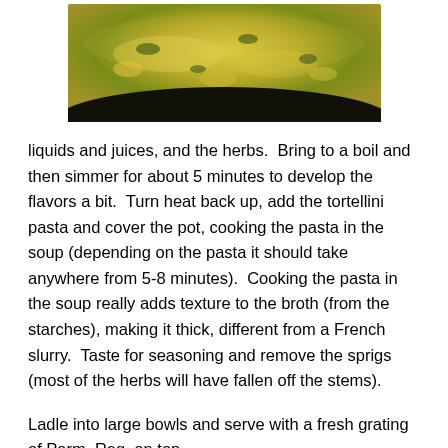[Figure (photo): Close-up photo of tortellini soup in a dark pot, showing pasta in a golden-yellow broth with green herbs]
liquids and juices, and the herbs.  Bring to a boil and then simmer for about 5 minutes to develop the flavors a bit.  Turn heat back up, add the tortellini pasta and cover the pot, cooking the pasta in the soup (depending on the pasta it should take anywhere from 5-8 minutes).  Cooking the pasta in the soup really adds texture to the broth (from the starches), making it thick, different from a French slurry.  Taste for seasoning and remove the sprigs (most of the herbs will have fallen off the stems).
Ladle into large bowls and serve with a fresh grating of Parm. Reg. on top.